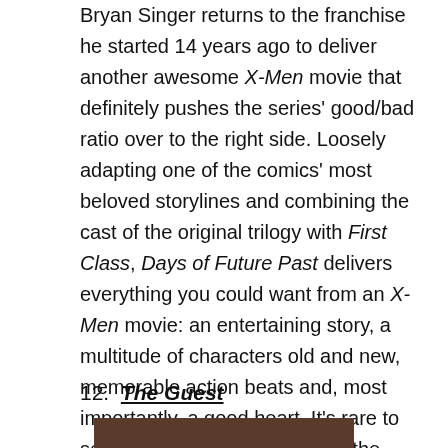Bryan Singer returns to the franchise he started 14 years ago to deliver another awesome X-Men movie that definitely pushes the series' good/bad ratio over to the right side. Loosely adapting one of the comics' most beloved storylines and combining the cast of the original trilogy with First Class, Days of Future Past delivers everything you could want from an X-Men movie: an entertaining story, a multitude of characters old and new, memorable action beats and, most importantly, a good heart. It's rare to see a film series acknowledge the mistakes of its past and work so hard to try and fix them, but Days of Future Past does that to the best of its ability.
12. The Guest
[Figure (photo): Bottom strip of a photo, partially visible at the bottom of the page]